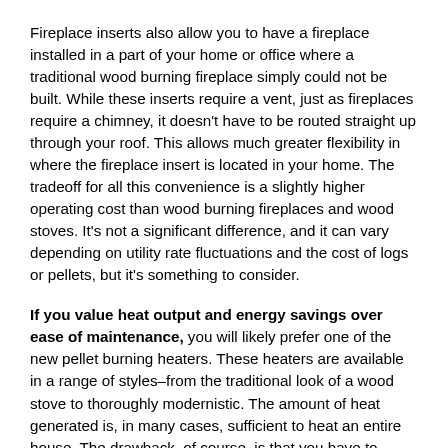Fireplace inserts also allow you to have a fireplace installed in a part of your home or office where a traditional wood burning fireplace simply could not be built. While these inserts require a vent, just as fireplaces require a chimney, it doesn't have to be routed straight up through your roof. This allows much greater flexibility in where the fireplace insert is located in your home. The tradeoff for all this convenience is a slightly higher operating cost than wood burning fireplaces and wood stoves. It's not a significant difference, and it can vary depending on utility rate fluctuations and the cost of logs or pellets, but it's something to consider.
If you value heat output and energy savings over ease of maintenance, you will likely prefer one of the new pellet burning heaters. These heaters are available in a range of styles–from the traditional look of a wood stove to thoroughly modernistic. The amount of heat generated is, in many cases, sufficient to heat an entire house. The drawback, of course, is that you have to procure proper fuel (the pellets) and clean out the ashes from your fire. Also, there's no flicking a switch